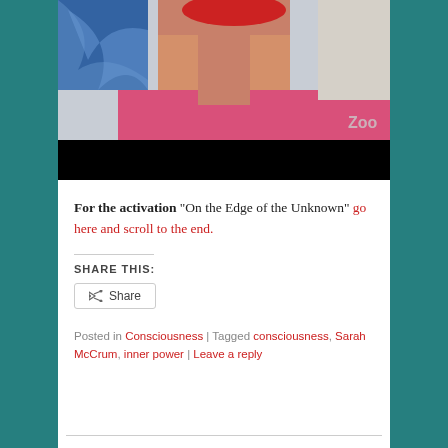[Figure (photo): Partial screenshot of a Zoom video call showing a woman in a pink sleeveless top with a blue abstract painting in the background. A red oval/redaction bar covers the top of the frame. The lower portion has a black bar (video controls area). 'Zoo' (Zoom watermark) is visible in the lower right of the video area.]
For the activation “On the Edge of the Unknown” go here and scroll to the end.
SHARE THIS:
Share
Posted in Consciousness | Tagged consciousness, Sarah McCrum, inner power | Leave a reply